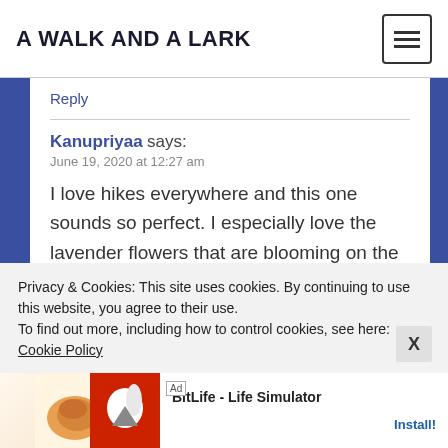A WALK AND A LARK
Reply
Kanupriyaa says:
June 19, 2020 at 12:27 am
I love hikes everywhere and this one sounds so perfect. I especially love the lavender flowers that are blooming on the trail.
Reply
JoeyA says:
Privacy & Cookies: This site uses cookies. By continuing to use this website, you agree to their use.
To find out more, including how to control cookies, see here: Cookie Policy
[Figure (screenshot): Ad banner for BitLife - Life Simulator with Install button]